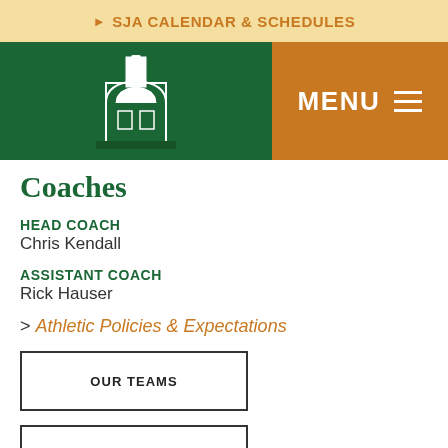SJA CALENDAR & SCHEDULES
[Figure (logo): SJA school logo — white bell tower building on dark green background with MENU hamburger icon on orange-brown background]
Coaches
HEAD COACH
Chris Kendall
ASSISTANT COACH
Rick Hauser
> Athletic Policies & Expectations
OUR TEAMS
PRINTABLE SCHEDULE